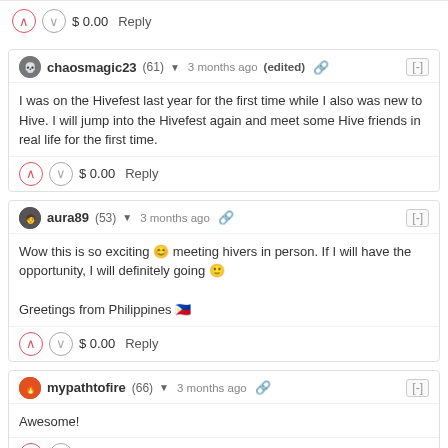$ 0.00   Reply
chaosmagic23 (61) 3 months ago (edited)
I was on the Hivefest last year for the first time while I also was new to Hive. I will jump into the Hivefest again and meet some Hive friends in real life for the first time.
$ 0.00   Reply
aura89 (53) 3 months ago
Wow this is so exciting 😊 meeting hivers in person. If I will have the opportunity, I will definitely going 🙂

Greetings from Philippines 🇵🇭
$ 0.00   Reply
mypathtofire (66) 3 months ago
Awesome!
$ 0.00   Reply